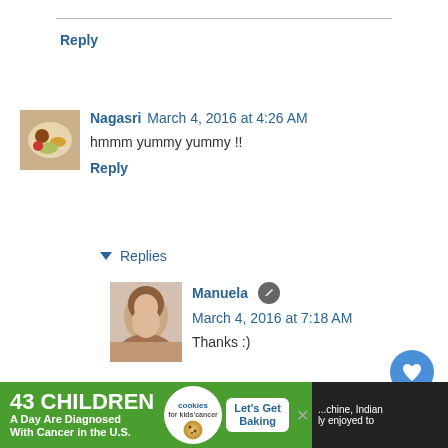Reply
[Figure (photo): Small avatar image of food/recipe]
Nagasri March 4, 2016 at 4:26 AM
hmmm yummy yummy !!
Reply
▼ Replies
[Figure (photo): Avatar photo of Manuela]
Manuela [edit icon] March 4, 2016 at 7:18 AM
Thanks :)
Reply
[Figure (photo): Unknown commenter avatar (orange B icon)]
Unknown May 26, 2016 at 10:16 PM
[Figure (infographic): Ad banner: 43 CHILDREN A Day Are Diagnosed With Cancer in the U.S. - cookies for kids cancer - Let's Get Baking]